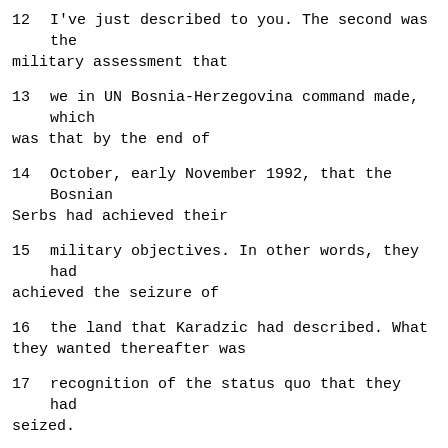12      I've just described to you.  The second was the military assessment that
13      we in UN Bosnia-Herzegovina command made, which was that by the end of
14      October, early November 1992, that the Bosnian Serbs had achieved their
15      military objectives.  In other words, they had achieved the seizure of
16      the land that Karadzic had described.  What they wanted thereafter was
17      recognition of the status quo that they had seized.
18             Their objective in all the negotiations with United Nations